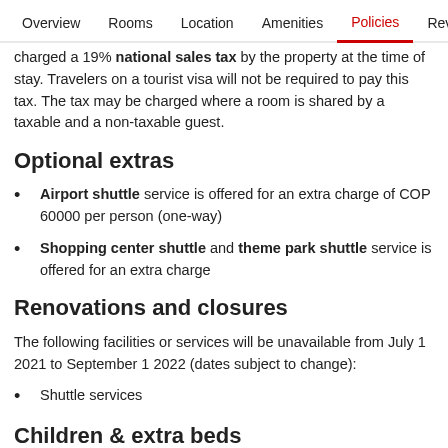Overview  Rooms  Location  Amenities  Policies  Reviews
charged a 19% national sales tax by the property at the time of stay. Travelers on a tourist visa will not be required to pay this tax. The tax may be charged where a room is shared by a taxable and a non-taxable guest.
Optional extras
Airport shuttle service is offered for an extra charge of COP 60000 per person (one-way)
Shopping center shuttle and theme park shuttle service is offered for an extra charge
Renovations and closures
The following facilities or services will be unavailable from July 1 2021 to September 1 2022 (dates subject to change):
Shuttle services
Children & extra beds